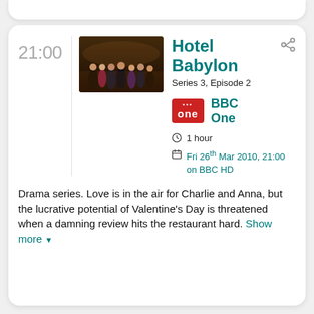21:00
[Figure (photo): Promotional image for Hotel Babylon showing a group of cast members in formal attire in a hotel setting with warm lighting]
Hotel Babylon
Series 3, Episode 2
[Figure (logo): BBC One logo - red rectangle with 'bbc one' text]
BBC One
1 hour
Fri 26th Mar 2010, 21:00 on BBC HD
Drama series. Love is in the air for Charlie and Anna, but the lucrative potential of Valentine's Day is threatened when a damning review hits the restaurant hard. Show more ▼